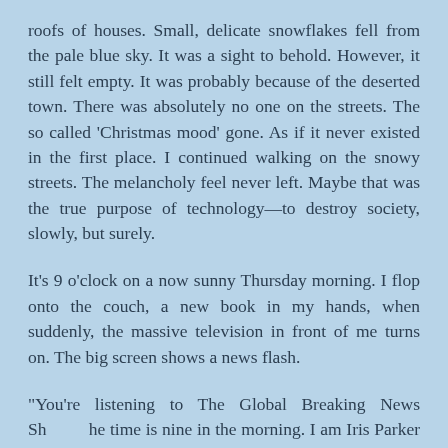roofs of houses. Small, delicate snowflakes fell from the pale blue sky. It was a sight to behold. However, it still felt empty. It was probably because of the deserted town. There was absolutely no one on the streets. The so called 'Christmas mood' gone. As if it never existed in the first place. I continued walking on the snowy streets. The melancholy feel never left. Maybe that was the true purpose of technology—to destroy society, slowly, but surely.
It's 9 o'clock on a now sunny Thursday morning. I flop onto the couch, a new book in my hands, when suddenly, the massive television in front of me turns on. The big screen shows a news flash.
"You're listening to The Global Breaking News Sh he time is nine in the morning. I am Iris Parker here with the news," the news reporter—a seemingly middle aged woman with chocolate brown hair—talks unusually fast, crisp; clear in her voice. I shift in my seat on the couch.